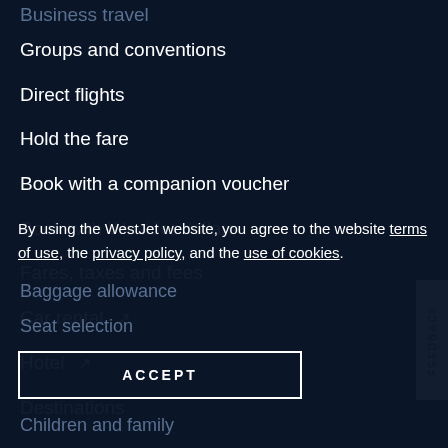Business travel
Groups and conventions
Direct flights
Hold the fare
Book with a companion voucher
Book with WestJet dollars
Fares, taxes and fees
Car rental ↗
Hotel ↗
Destinations
By using the WestJet website, you agree to the website terms of use, the privacy policy, and the use of cookies.
Baggage allowance
Seat selection
Children and family